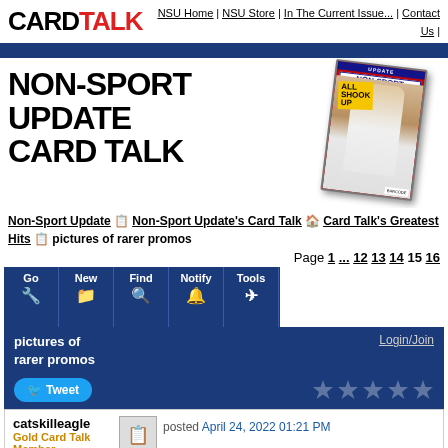CARD TALK | NSU Home | NSU Store | In The Current Issue... | Contact Us
[Figure (illustration): Non-Sport Update Card Talk banner with large bold text 'NON-SPORT UPDATE CARD TALK' on left and a tilted magazine cover showing Elvis on the right]
Non-Sport Update 🗓 Non-Sport Update's Card Talk 🏠 Card Talk's Greatest Hits 🗓 pictures of rarer promos
Page 1 ... 12 13 14 15 16
[Figure (screenshot): Forum toolbar with buttons: Go, New, Find, Notify, Tools, Reply]
pictures of rarer promos
Login/Join
Tweet
catskilleagle Gold Card Talk Member posted April 24, 2022 01:21 PM